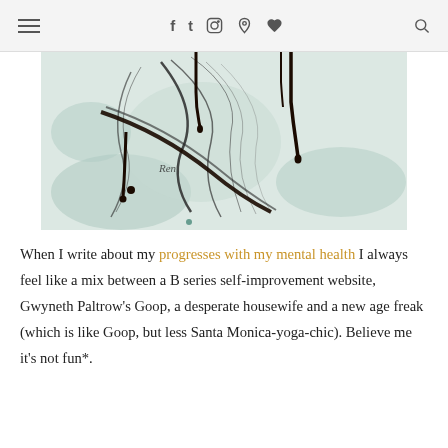≡  f  t  [instagram]  [pinterest]  [heart]  [search]
[Figure (illustration): Abstract watercolor and ink illustration of a figure with flowing lines and dark ink drips, on a pale teal/grey background, signed 'Ren']
When I write about my progresses with my mental health I always feel like a mix between a B series self-improvement website, Gwyneth Paltrow's Goop, a desperate housewife and a new age freak (which is like Goop, but less Santa Monica-yoga-chic). Believe me it's not fun*.